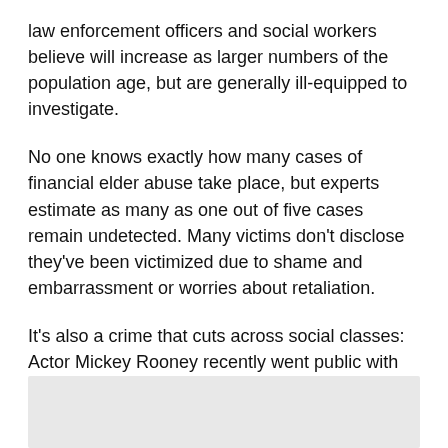law enforcement officers and social workers believe will increase as larger numbers of the population age, but are generally ill-equipped to investigate.
No one knows exactly how many cases of financial elder abuse take place, but experts estimate as many as one out of five cases remain undetected. Many victims don't disclose they've been victimized due to shame and embarrassment or worries about retaliation.
It's also a crime that cuts across social classes: Actor Mickey Rooney recently went public with his own victimization at the hands of a relative, while the high-profile trial of the son of wealthy socialite Brooke Astor encompassed charges of estate tampering and elder abuse.
[Figure (other): Gray rectangle at the bottom of the page, likely a placeholder for an image or graphic.]